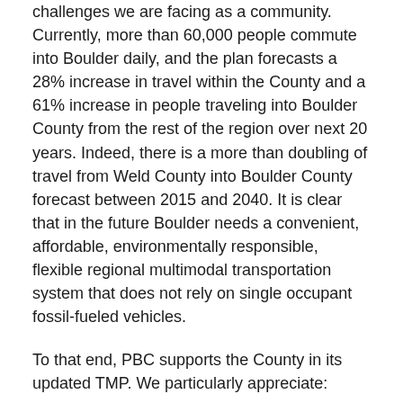challenges we are facing as a community. Currently, more than 60,000 people commute into Boulder daily, and the plan forecasts a 28% increase in travel within the County and a 61% increase in people traveling into Boulder County from the rest of the region over next 20 years. Indeed, there is a more than doubling of travel from Weld County into Boulder County forecast between 2015 and 2040. It is clear that in the future Boulder needs a convenient, affordable, environmentally responsible, flexible regional multimodal transportation system that does not rely on single occupant fossil-fueled vehicles.
To that end, PBC supports the County in its updated TMP. We particularly appreciate:
The priority placed on the need for effective